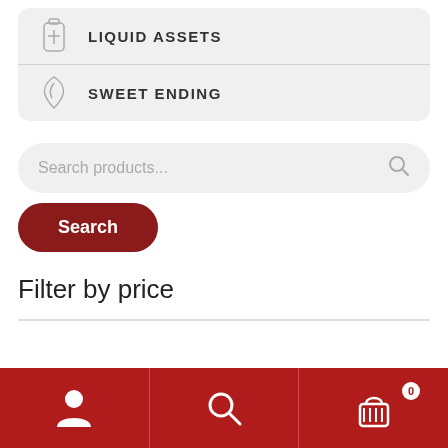LIQUID ASSETS
SWEET ENDING
Search products...
Search
Filter by price
[Figure (infographic): Bottom navigation bar with user/account icon, search icon, and shopping basket icon with badge showing 0]